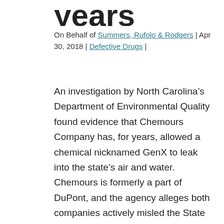years
On Behalf of Summers, Rufolo & Rodgers | Apr 30, 2018 | Defective Drugs |
An investigation by North Carolina’s Department of Environmental Quality found evidence that Chemours Company has, for years, allowed a chemical nicknamed GenX to leak into the state’s air and water. Chemours is formerly a part of DuPont, and the agency alleges both companies actively misled the State about the leaks and their dangers. The State has now filed a lawsuit against Chemours.
GenX is a compound used in making Teflon and other non-stick materials. It has been in